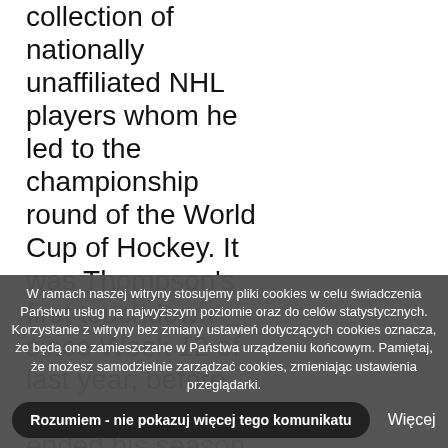collection of nationally unaffiliated NHL players whom he led to the championship round of the World Cup of Hockey. It was Thompson's first touchdown since Week 12 of last year, before the leg injury that ended his season. I think it's a lot of fun to
W ramach naszej witryny stosujemy pliki cookies w celu świadczenia Państwu usług na najwyższym poziomie oraz do celów statystycznych. Korzystanie z witryny bez zmiany ustawień dotyczących cookies oznacza, że będą one zamieszczane w Państwa urządzeniu końcowym. Pamiętaj, że możesz samodzielnie zarządzać cookies, zmieniając ustawienia przeglądarki.
Rozumiem - nie pokazuj więcej tego komunikatu
Więcej